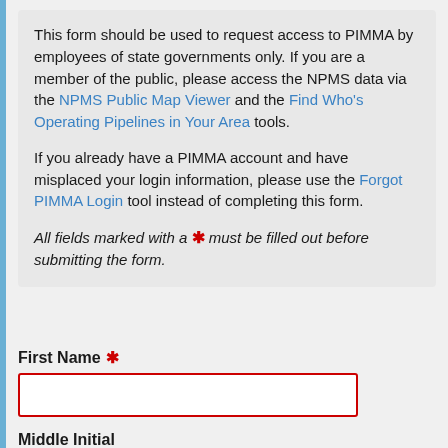This form should be used to request access to PIMMA by employees of state governments only. If you are a member of the public, please access the NPMS data via the NPMS Public Map Viewer and the Find Who's Operating Pipelines in Your Area tools.
If you already have a PIMMA account and have misplaced your login information, please use the Forgot PIMMA Login tool instead of completing this form.
All fields marked with a * must be filled out before submitting the form.
First Name *
Middle Initial